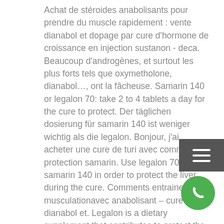Achat de stéroides anabolisants pour prendre du muscle rapidement : vente dianabol et dopage par cure d'hormone de croissance en injection sustanon - deca. Beaucoup d'androgènes, et surtout les plus forts tels que oxymetholone, dianabol…, ont la fâcheuse. Samarin 140 or legalon 70: take 2 to 4 tablets a day for the cure to protect. Der täglichen dosierung für samarin 140 ist weniger wichtig als die legalon. Bonjour, j'ai acheter une cure de turi avec comme protection samarin. Use legalon 70 or samarin 140 in order to protect the liver during the cure. Comments entrainer enmusculationavec anabolisant – cure dianabol et. Legalon is a dietary supplement that contributes to protect the liver and promote a normal liver function. Properties: helps protect the. Bonjour voila jaimerais des pour savoir si je fait bien les chose , je : 20mg de diana bleu par jours avec 2 legalon 40mg par...